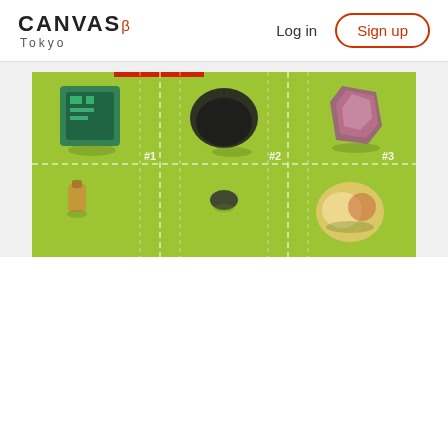CANVAS β Tokyo  Log in  Sign up
[Figure (photo): A lime-green grid layout banner showing minerals/stones and small objects arranged in a 3-column grid with dashed white borders, numbered #1, #2, #3. Objects include a circuit board piece, a black stone, an amethyst crystal, a small bottle, a dark pebble, and a colorful shell/mineral. A red bar accent appears at the top.]